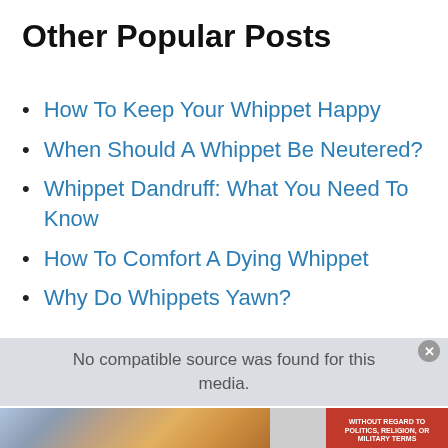Other Popular Posts
How To Keep Your Whippet Happy
When Should A Whippet Be Neutered?
Whippet Dandruff: What You Need To Know
How To Comfort A Dying Whippet
Why Do Whippets Yawn?
[Figure (screenshot): Video player overlay showing 'No compatible source was found for this media.' message with close button]
[Figure (photo): Advertisement banner showing an airplane being loaded with cargo, with text 'WITHOUT REGARD TO POLITICS, RELIGION, OR MILITARY TERMS']